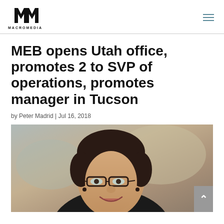MacroMedia logo and navigation
MEB opens Utah office, promotes 2 to SVP of operations, promotes manager in Tucson
by Peter Madrid | Jul 16, 2018
[Figure (photo): Headshot of a woman with short dark hair, glasses, wearing dark clothing, smiling. Background is blurred outdoor scene.]